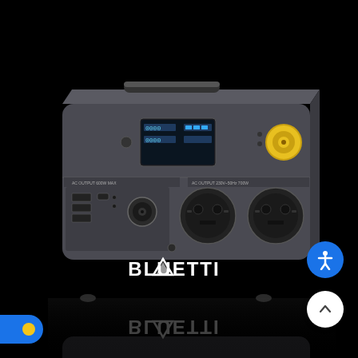[Figure (photo): A BLUETTI portable power station photographed against a black background with a reflective surface below. The device is a dark gray/black rectangular unit with an LCD display showing battery level and power readouts, multiple output ports including AC sockets (Schuko-style), USB ports, a DC port, and a yellow aviation connector. The BLUETTI logo with a triangle/chevron emblem is visible on the front. The device's reflection is visible on the glossy black surface below.]